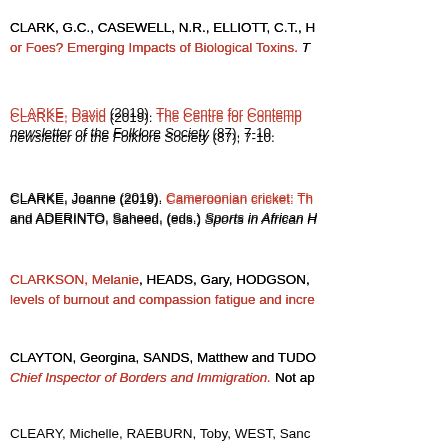CLARK, G.C., CASEWELL, N.R., ELLIOTT, C.T., H... or Foes? Emerging Impacts of Biological Toxins. T...
CLARKE, David (2019). The Centre for Contemp... newsletter of the Folklore Society (87), 7-10.
CLARKE, Joanne (2019). Cameroonian cricket: Th... and ADERINTO, Saheed, (eds.) Sports in African H...
CLARKSON, Melanie, HEADS, Gary, HODGSON,... levels of burnout and compassion fatigue and incre...
CLAYTON, Georgina, SANDS, Matthew and TUDO... Chief Inspector of Borders and Immigration. Not ap...
CLEARY, Michelle, RAEBURN, Toby, WEST, Sanc... care home: role in thermal comfort and mental hea...
CLEGG, Francis, BREEN, Christopher, MURANYI,... prepared using mixed silver/sodium exchanged h...